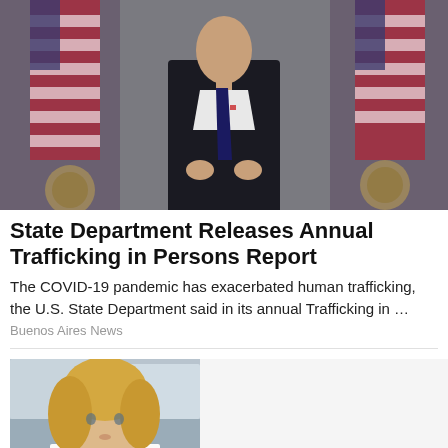[Figure (photo): Man in dark suit and tie speaking at a podium in front of American flags and official seals — likely U.S. Secretary of State Antony Blinken]
State Department Releases Annual Trafficking in Persons Report
The COVID-19 pandemic has exacerbated human trafficking, the U.S. State Department said in its annual Trafficking in …
Buenos Aires News
[Figure (photo): Blonde woman in professional attire, photographed indoors against a blurred background]